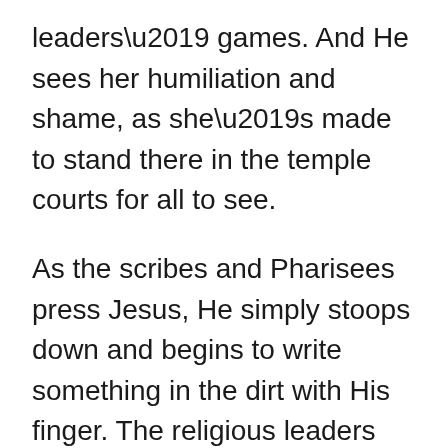leaders' games. And He sees her humiliation and shame, as she's made to stand there in the temple courts for all to see.
As the scribes and Pharisees press Jesus, He simply stoops down and begins to write something in the dirt with His finger. The religious leaders keep questioning Him, and Jesus responds, “Let any one of you who is without sin be the first to throw a stone at her” (v. 7). Then He returns to His dirt writing.
What Jesus wrote in the earth that had accumulated on the stone floor of the temple’s